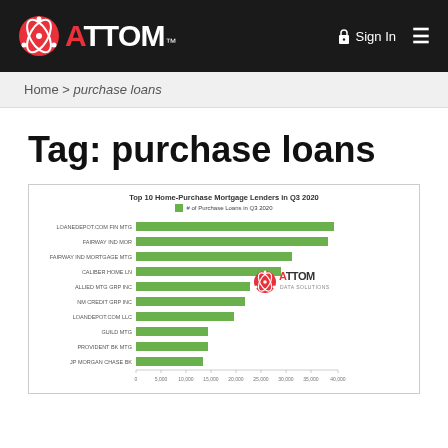ATTOM™  Sign In ≡
Home > purchase loans
Tag: purchase loans
[Figure (bar-chart): Top 10 Home-Purchase Mortgage Lenders in Q3 2020]